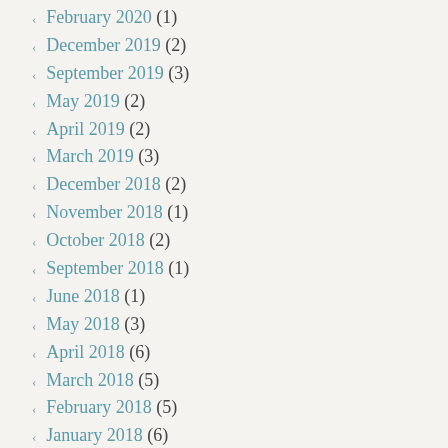February 2020 (1)
December 2019 (2)
September 2019 (3)
May 2019 (2)
April 2019 (2)
March 2019 (3)
December 2018 (2)
November 2018 (1)
October 2018 (2)
September 2018 (1)
June 2018 (1)
May 2018 (3)
April 2018 (6)
March 2018 (5)
February 2018 (5)
January 2018 (6)
December 2017 (5)
November 2017 (2)